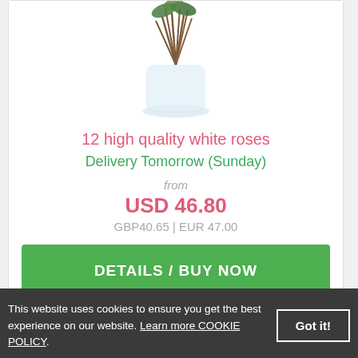[Figure (photo): Flowers (white roses) in a glass vase, stems visible through the glass, green foliage at top]
12 high quality white roses
Delivery Tomorrow (Sunday)
from
USD 46.80
GBP40.65 | EUR 47.00
DETAILS / BUY NOW
This website uses cookies to ensure you get the best experience on our website. Learn more COOKIE POLICY.